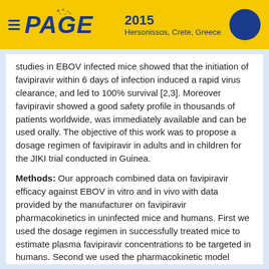PAGE 2015 Hersonissos, Crete, Greece
studies in EBOV infected mice showed that the initiation of favipiravir within 6 days of infection induced a rapid virus clearance, and led to 100% survival [2,3]. Moreover favipiravir showed a good safety profile in thousands of patients worldwide, was immediately available and can be used orally. The objective of this work was to propose a dosage regimen of favipiravir in adults and in children for the JIKI trial conducted in Guinea.
Methods: Our approach combined data on favipiravir efficacy against EBOV in vitro and in vivo with data provided by the manufacturer on favipiravir pharmacokinetics in uninfected mice and humans. First we used the dosage regimen in successfully treated mice to estimate plasma favipiravir concentrations to be targeted in humans. Second we used the pharmacokinetic model developed by the manufacturer in humans with the parameters values estimated in US healthy volunteers to evaluate dosage regimen that could achieve these targeted concentrations in adults. Simulations were